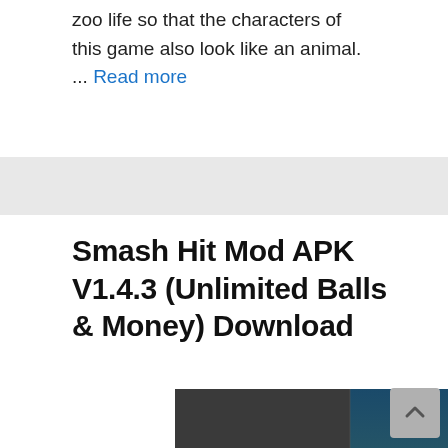zoo life so that the characters of this game also look like an animal. ... Read more
Smash Hit Mod APK V1.4.3 (Unlimited Balls & Money) Download
[Figure (screenshot): Screenshot of Smash Hit game showing balls flying through geometric glass obstacles in a blue-teal tunnel environment]